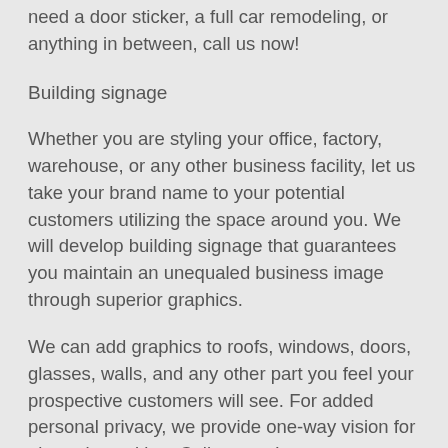need a door sticker, a full car remodeling, or anything in between, call us now!
Building signage
Whether you are styling your office, factory, warehouse, or any other business facility, let us take your brand name to your potential customers utilizing the space around you. We will develop building signage that guarantees you maintain an unequaled business image through superior graphics.
We can add graphics to roofs, windows, doors, glasses, walls, and any other part you feel your prospective customers will see. For added personal privacy, we provide one-way vision for glass sign writing. Call us now!